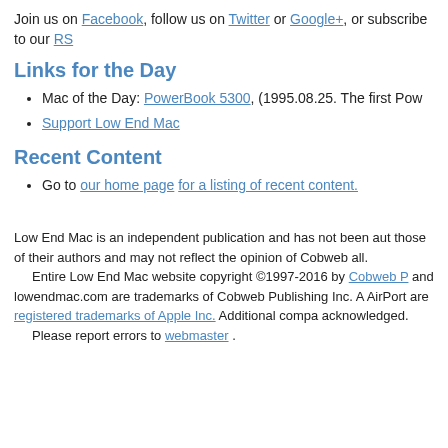Join us on Facebook, follow us on Twitter or Google+, or subscribe to our RS
Links for the Day
Mac of the Day: PowerBook 5300, (1995.08.25. The first Pow
Support Low End Mac
Recent Content
Go to our home page for a listing of recent content.
Low End Mac is an independent publication and has not been aut those of their authors and may not reflect the opinion of Cobweb all.
  Entire Low End Mac website copyright ©1997-2016 by Cobweb P and lowendmac.com are trademarks of Cobweb Publishing Inc. A AirPort are registered trademarks of Apple Inc. Additional compa acknowledged.
  Please report errors to webmaster .